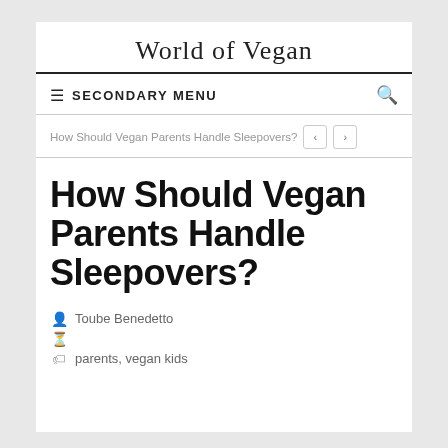World of Vegan
SECONDARY MENU
How Should Vegan Parents Handle Sleepovers?
How Should Vegan Parents Handle Sleepovers?
Toube Benedetto
parents, vegan kids